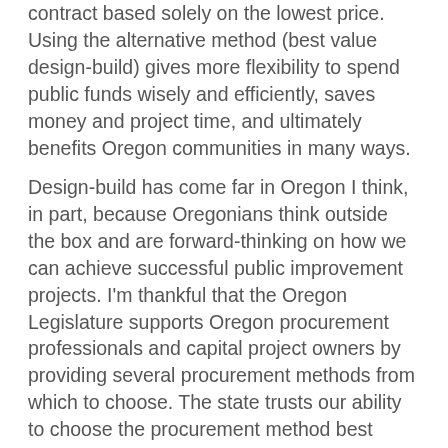contract based solely on the lowest price. Using the alternative method (best value design-build) gives more flexibility to spend public funds wisely and efficiently, saves money and project time, and ultimately benefits Oregon communities in many ways.
Design-build has come far in Oregon I think, in part, because Oregonians think outside the box and are forward-thinking on how we can achieve successful public improvement projects. I'm thankful that the Oregon Legislature supports Oregon procurement professionals and capital project owners by providing several procurement methods from which to choose. The state trusts our ability to choose the procurement method best suited to fit a specific project, which instills the public's confidence in our ability to meet their needs and spend the funds wisely and appropriately.